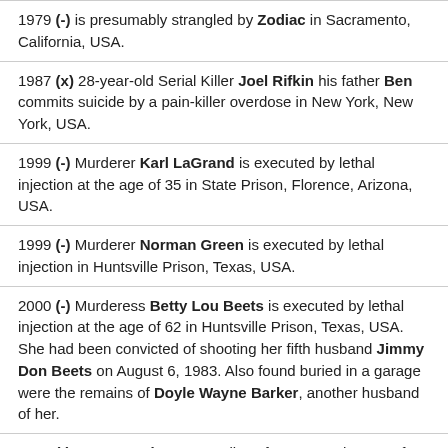1979 (-) is presumably strangled by Zodiac in Sacramento, California, USA.
1987 (x) 28-year-old Serial Killer Joel Rifkin his father Ben commits suicide by a pain-killer overdose in New York, New York, USA.
1999 (-) Murderer Karl LaGrand is executed by lethal injection at the age of 35 in State Prison, Florence, Arizona, USA.
1999 (-) Murderer Norman Green is executed by lethal injection in Huntsville Prison, Texas, USA.
2000 (-) Murderess Betty Lou Beets is executed by lethal injection at the age of 62 in Huntsville Prison, Texas, USA. She had been convicted of shooting her fifth husband Jimmy Don Beets on August 6, 1983. Also found buried in a garage were the remains of Doyle Wayne Barker, another husband of her.
2006 (-) Actor Dennis Weaver dies of cancer at the age of 81 in Ridgway, Colorado, USA.